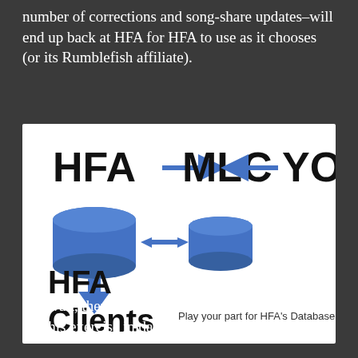number of corrections and song-share updates–will end up back at HFA for HFA to use as it chooses (or its Rumblefish affiliate).
[Figure (infographic): Diagram showing HFA with arrow pointing right to MLC, and YOU with arrow pointing left to MLC. Below, two database cylinders connected by a double-headed arrow. The left cylinder has a downward arrow pointing to text 'HFA Clients'. Text reads 'Play your part for HFA's Database'.]
But wait, there's more.  Don't forget:  The reason for this exercise in data cleaning is to